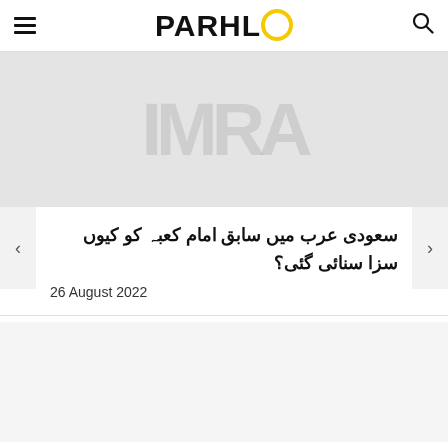PARHLO
[Figure (photo): Faded/watermarked background image area with large gray text overlay]
سعودی عرب میں سابق امام کعبہ کو کیوں سزا سنائی گئی؟
26 August 2022
بلیک ہول کی آوازوں نے صارفین کے رونگٹے کھڑے ک